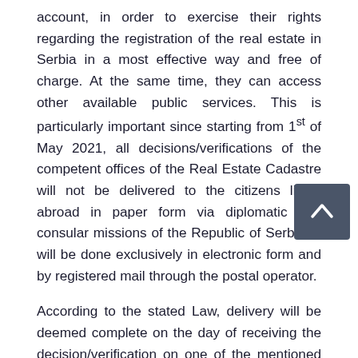account, in order to exercise their rights regarding the registration of the real estate in Serbia in a most effective way and free of charge. At the same time, they can access other available public services. This is particularly important since starting from 1st of May 2021, all decisions/verifications of the competent offices of the Real Estate Cadastre will not be delivered to the citizens living abroad in paper form via diplomatic and consular missions of the Republic of Serbia. It will be done exclusively in electronic form and by registered mail through the postal operator.
According to the stated Law, delivery will be deemed complete on the day of receiving the decision/verification on one of the mentioned ways (via electronic mailbox or registered mail), or upon the expiration of 30 days from the day of announcing the